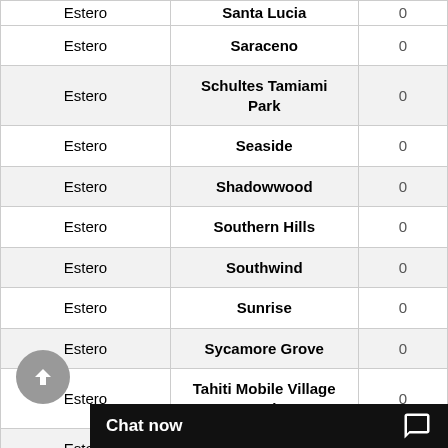| Estero | Santa Lucia | 0 |
| Estero | Saraceno | 0 |
| Estero | Schultes Tamiami Park | 0 |
| Estero | Seaside | 0 |
| Estero | Shadowwood | 0 |
| Estero | Southern Hills | 0 |
| Estero | Southwind | 0 |
| Estero | Sunrise | 0 |
| Estero | Sycamore Grove | 0 |
| Estero | Tahiti Mobile Village Park | 0 |
| Estero | Tamarind Trace | 0 |
| Estero | Ta... |  |